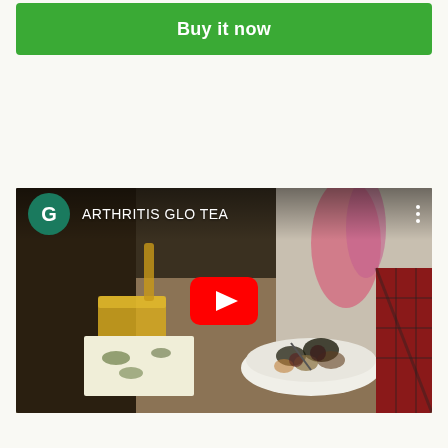[Figure (screenshot): Green 'Buy it now' button]
[Figure (screenshot): YouTube video thumbnail for 'ARTHRITIS GLO TEA' showing a glass of golden tea being poured and a bowl of herbs on a burlap surface, with YouTube play button overlay and channel icon 'G']